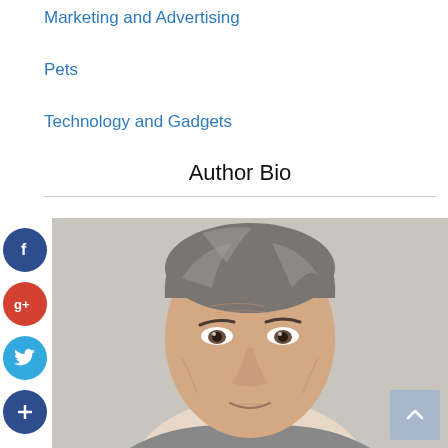Marketing and Advertising
Pets
Technology and Gadgets
Author Bio
[Figure (photo): Author photo: middle-aged man with grey-streaked hair against a light grey background, with social media share icons (Facebook, Google+, Twitter, plus) on the left side]
[Figure (other): Back to top button (light blue square with upward chevron arrow)]